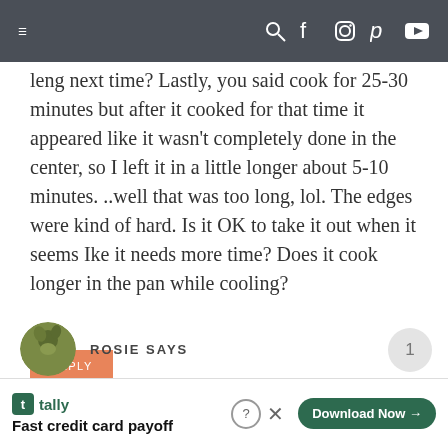Navigation bar with hamburger menu and social icons
leng next time? Lastly, you said cook for 25-30 minutes but after it cooked for that time it appeared like it wasn't completely done in the center, so I left it in a little longer about 5-10 minutes. ..well that was too long, lol. The edges were kind of hard. Is it OK to take it out when it seems Ike it needs more time? Does it cook longer in the pan while cooling?
REPLY
ROSIE SAYS
Fast credit card payoff